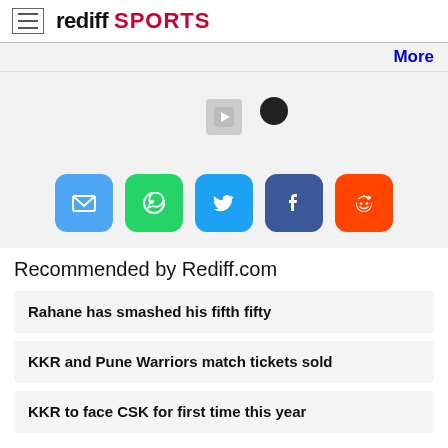rediff SPORTS
More
[Figure (screenshot): Media player area with play button icon and a dark dot, on grey background]
[Figure (infographic): Social sharing icons: Mail (blue), WhatsApp (green), Twitter (light blue), Facebook (dark blue), Reddit (orange)]
Recommended by Rediff.com
Rahane has smashed his fifth fifty
KKR and Pune Warriors match tickets sold
KKR to face CSK for first time this year